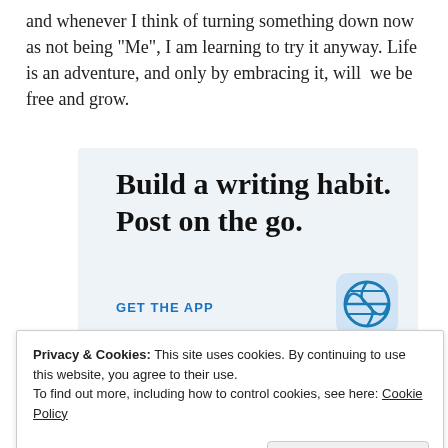and whenever I think of turning something down now as not being “Me”, I am learning to try it anyway. Life is an adventure, and only by embracing it, will  we be free and grow.
[Figure (other): WordPress app advertisement banner with light blue background. Headline: 'Build a writing habit. Post on the go.' Call-to-action link: 'GET THE APP'. WordPress logo icon in bottom right.]
Privacy & Cookies: This site uses cookies. By continuing to use this website, you agree to their use.
To find out more, including how to control cookies, see here: Cookie Policy